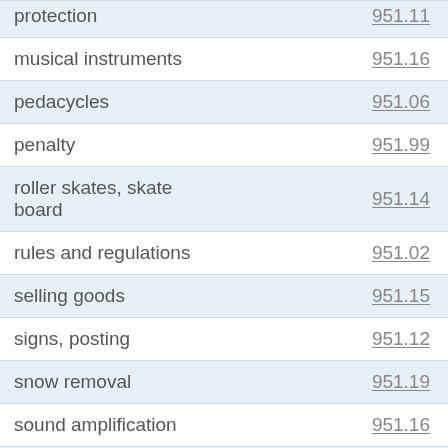| Term | Code |
| --- | --- |
| protection | 951.11 |
| musical instruments | 951.16 |
| pedacycles | 951.06 |
| penalty | 951.99 |
| roller skates, skate board | 951.14 |
| rules and regulations | 951.02 |
| selling goods | 951.15 |
| signs, posting | 951.12 |
| snow removal | 951.19 |
| sound amplification | 951.16 |
| storage of goods | 951.17 |
| sweeping | 951.18 |